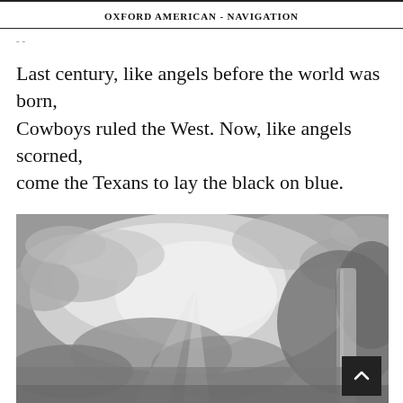OXFORD AMERICAN - NAVIGATION
Last century, like angels before the world was born, Cowboys ruled the West. Now, like angels scorned, come the Texans to lay the black on blue.
[Figure (photo): Black and white photograph of a dramatic cloudy sky with rays of light breaking through clouds, and what appears to be a rainbow or shaft of light on the right side.]